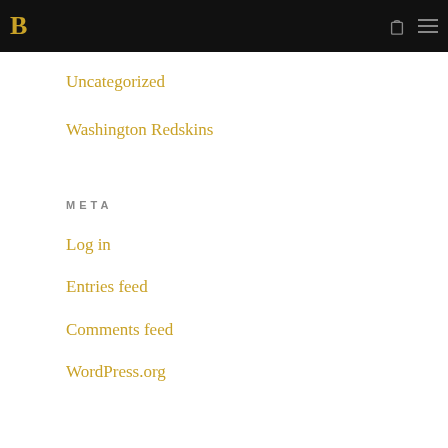B [logo] [bag icon] [menu icon]
Uncategorized
Washington Redskins
META
Log in
Entries feed
Comments feed
WordPress.org